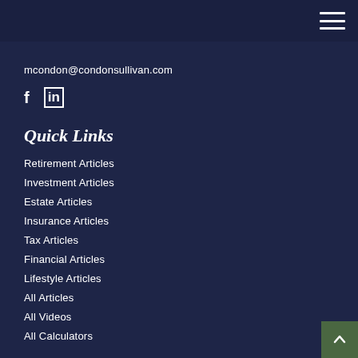mcondon@condonsullivan.com
[Figure (illustration): Social media icons: Facebook (f) and LinkedIn (in)]
Quick Links
Retirement Articles
Investment Articles
Estate Articles
Insurance Articles
Tax Articles
Financial Articles
Lifestyle Articles
All Articles
All Videos
All Calculators